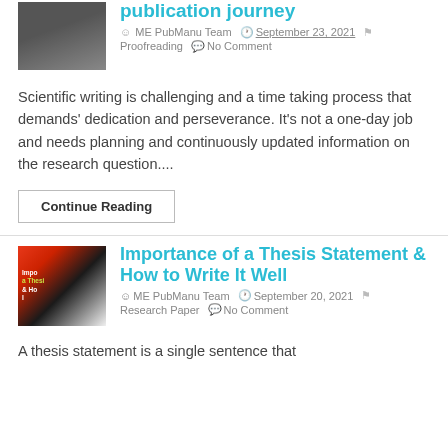publication journey
ME PubManu Team   September 23, 2021   Proofreading   No Comment
Scientific writing is challenging and a time taking process that demands' dedication and perseverance. It's not a one-day job and needs planning and continuously updated information on the research question....
Continue Reading
Importance of a Thesis Statement & How to Write It Well
ME PubManu Team   September 20, 2021   Research Paper   No Comment
A thesis statement is a single sentence that